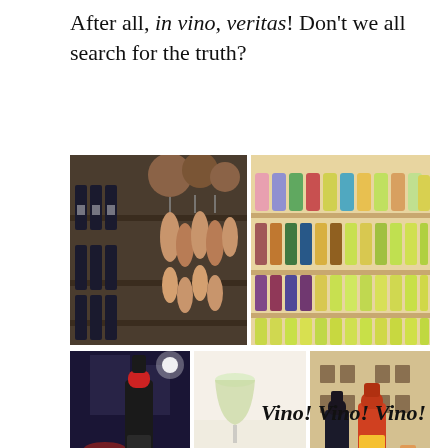After all, in vino, veritas! Don't we all search for the truth?
[Figure (photo): Photo collage of wine bottles on shelves with hanging salumi and bread, next to a shop shelf filled with colorful bottles of spirits and liqueurs, and three bottom photos: a wine bottle with glass at night, antipasti food items on paper, and Aperol bottle with glasses in a piazza setting.]
Vino! Vino! Vino!